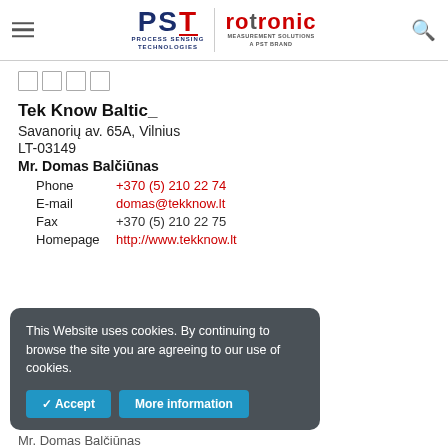PST | rotronic MEASUREMENT SOLUTIONS A PST BRAND
□□□□
Tek Know Baltic_
Savanorių av. 65A, Vilnius
LT-03149
Mr. Domas Balčiūnas
Phone   +370 (5) 210 22 74
E-mail   domas@tekknow.lt
Fax   +370 (5) 210 22 75
Homepage   http://www.tekknow.lt
This Website uses cookies. By continuing to browse the site you are agreeing to our use of cookies.
Mr. Domas Balčiūnas